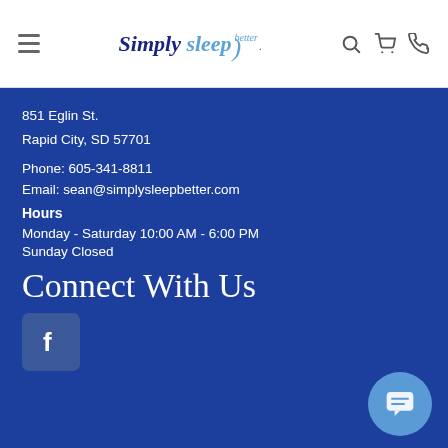Simply sleep better — navigation header with logo, search, cart, and phone icons
851 Eglin St.
Rapid City, SD 57701
Phone: 605-341-8811
Email: sean@simplysleepbetter.com
Hours
Monday - Saturday 10:00 AM - 6:00 PM
Sunday Closed
Connect With Us
[Figure (logo): Facebook logo icon — blue rounded square with white F]